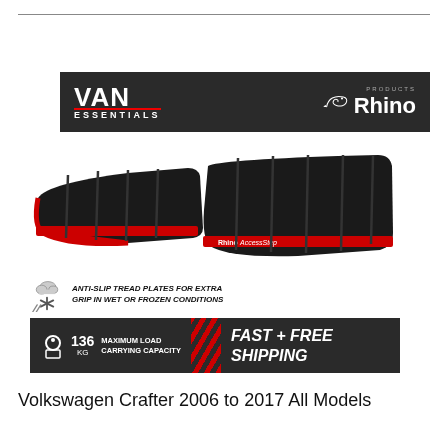[Figure (infographic): Van Essentials and Rhino Products banner logo on dark background]
[Figure (infographic): Product infographic showing Rhino AccessStep van rear step with features: 20 minutes fitting time, seamless parking sensor integration, anti-slip tread plates, 136kg maximum load capacity, fast and free shipping]
Volkswagen Crafter 2006 to 2017 All Models